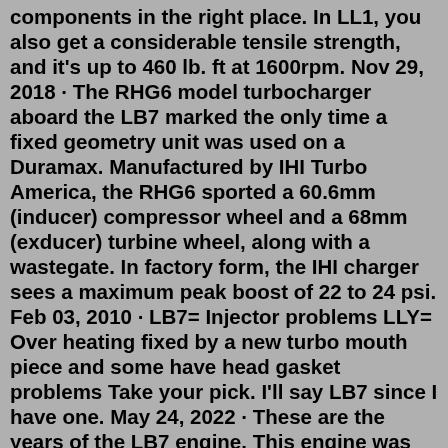components in the right place. In LL1, you also get a considerable tensile strength, and it's up to 460 lb. ft at 1600rpm. Nov 29, 2018 · The RHG6 model turbocharger aboard the LB7 marked the only time a fixed geometry unit was used on a Duramax. Manufactured by IHI Turbo America, the RHG6 sported a 60.6mm (inducer) compressor wheel and a 68mm (exducer) turbine wheel, along with a wastegate. In factory form, the IHI charger sees a maximum peak boost of 22 to 24 psi. Feb 03, 2010 · LB7= Injector problems LLY= Over heating fixed by a new turbo mouth piece and some have head gasket problems Take your pick. I'll say LB7 since I have one. May 24, 2022 · These are the years of the LB7 engine. This engine was not perfected and had a number of issues with the water pump, fuel injectors, head gasket failures, and more. Also, the LLY which is an upgrade of the LB7 is not that big of a change from the previous LB7 model. So, the best thing is to avoid all of the years from 2001 to 2005. The 2005 LLY had a torque level of 520 lb-ft at 1,600 rpm.